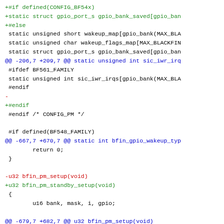[Figure (screenshot): A unified diff (patch) showing code changes in a C source file related to Linux kernel GPIO/PM driver for Blackfin architecture. Lines added are shown in green, removed lines in red, context lines in black, and diff hunk headers in blue.]